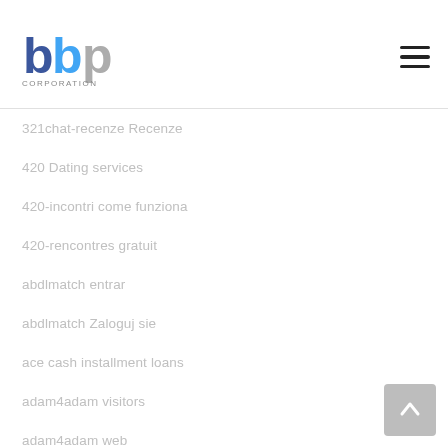bbp CORPORATION
321chat-recenze Recenze
420 Dating services
420-incontri come funziona
420-rencontres gratuit
abdlmatch entrar
abdlmatch Zaloguj sie
ace cash installment loans
adam4adam visitors
adam4adam web